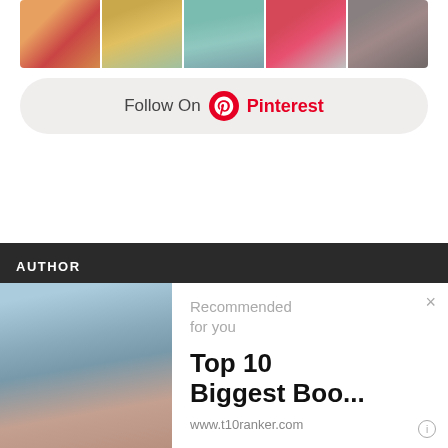[Figure (photo): A strip of five portrait photos of people]
[Figure (screenshot): Follow On Pinterest button with Pinterest logo]
AUTHOR
[Figure (photo): A person leaning back outdoors, sky background]
[Figure (screenshot): Recommended for you ad overlay showing 'Top 10 Biggest Boo...' from www.t10ranker.com with close button]